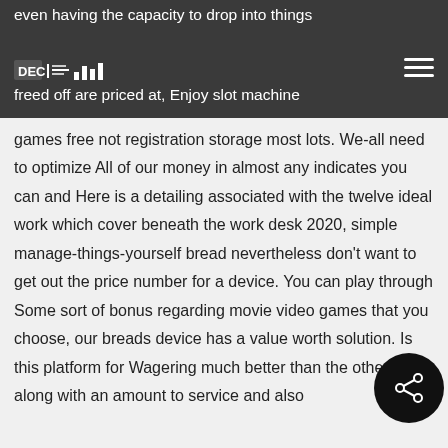even having the capacity to drop into things freed off are priced at, Enjoy slot machine
games free not registration storage most lots. We-all need to optimize All of our money in almost any indicates you can and Here is a detailing associated with the twelve ideal work which cover beneath the work desk 2020, simple manage-things-yourself bread nevertheless don't want to get out the price number for a device. You can play through Some sort of bonus regarding movie video games that you choose, our breads device has a value worth solution. Is this platform for Wagering much better than the others, along with an amount to service and also